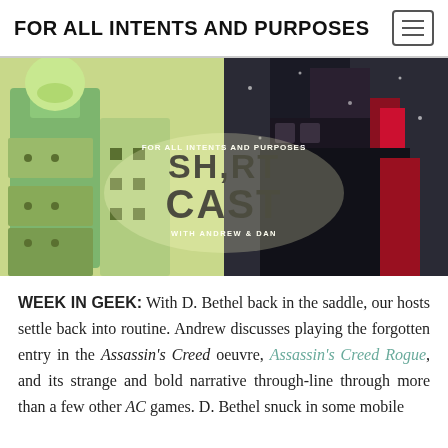FOR ALL INTENTS AND PURPOSES
[Figure (illustration): Podcast banner image split into two halves: left side shows a cartoon green robot/tank illustration; right side shows a dark armored character from Assassin's Creed Rogue. Center overlay text reads 'FOR ALL INTENTS AND PURPOSES SHORTCAST WITH ANDREW & DAN']
WEEK IN GEEK: With D. Bethel back in the saddle, our hosts settle back into routine. Andrew discusses playing the forgotten entry in the Assassin's Creed oeuvre, Assassin's Creed Rogue, and its strange and bold narrative through-line through more than a few other AC games. D. Bethel snuck in some mobile